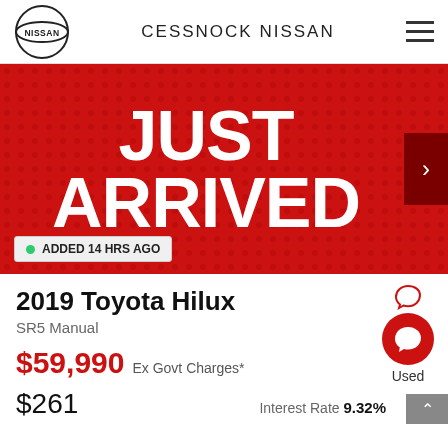CESSNOCK NISSAN
[Figure (illustration): Red banner with large white bold text reading JUST ARRIVED on a red dotopolka-dot background with a right-arrow navigation button]
ADDED 14 HRS AGO
2019 Toyota Hilux
SR5 Manual
$59,990 Ex Govt Charges*
Used
$261
Interest Rate 9.32%